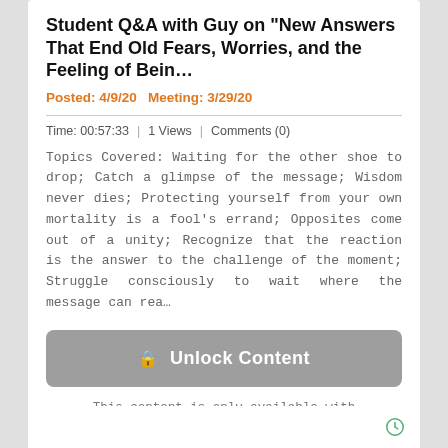Student Q&A with Guy on "New Answers That End Old Fears, Worries, and the Feeling of Bein...
Posted: 4/9/20 Meeting: 3/29/20
Time: 00:57:33 | 1 Views | Comments (0)
Topics Covered: Waiting for the other shoe to drop; Catch a glimpse of the message; Wisdom never dies; Protecting yourself from your own mortality is a fool's errand; Opposites come out of a unity; Recognize that the reaction is the answer to the challenge of the moment; Struggle consciously to wait where the message can rea…
🔒 Unlock Content
This content is only available with Premium Membership
ADD TO FAVORITES